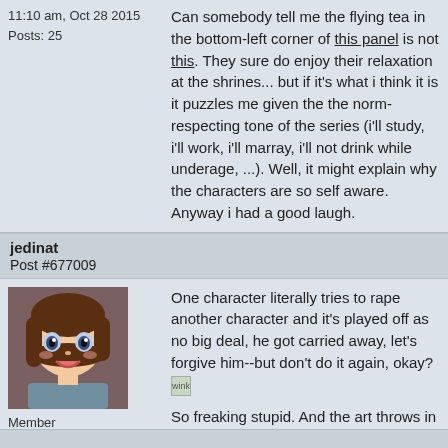11:10 am, Oct 28 2015
Posts: 25
Can somebody tell me the flying tea in the bottom-left corner of this panel is not this. They sure do enjoy their relaxation at the shrines... but if it's what i think it is it puzzles me given the the norm-respecting tone of the series (i'll study, i'll work, i'll marray, i'll not drink while underage, ...). Well, it might explain why the characters are so self aware.
Anyway i had a good laugh.
jedinat
Post #677009
[Figure (illustration): Anime avatar of a brown-haired girl with blue eyes smiling]
Member
2:58 am, Feb 21 2016
Posts: 950
One character literally tries to rape another character and it's played off as no big deal, he got carried away, let's forgive him--but don't do it again, okay? [wink]

So freaking stupid. And the art throws in a french kiss in the attempted rape scene, like that would happen while she's resisting... Just a little stupid NTR spice for our benefit.

This has soured me towards the manga.